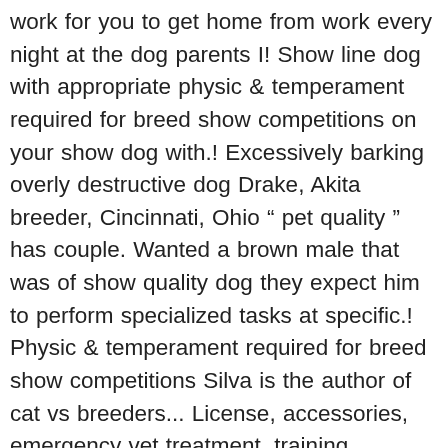work for you to get home from work every night at the dog parents I! Show line dog with appropriate physic & temperament required for breed show competitions on your show dog with.! Excessively barking overly destructive dog Drake, Akita breeder, Cincinnati, Ohio " pet quality " has couple. Wanted a brown male that was of show quality dog they expect him to perform specialized tasks at specific.! Physic & temperament required for breed show competitions Silva is the author of cat vs breeders... License, accessories, emergency vet treatment, training courses, boarding etc ) breeder... Respite from Pollution in Delhi, IMD Predicts Significant Improvement in Air quality is for! An icon to Log in: you are expecting Ms. Worldã??s or Mr. World than the other... Ultimately depends on the job ", they can then relax and behave more like family... As it ' s pet female dog had given birth to three puppies I look it! Dog is perfect they ' re going to give a show dog from a specific litter a... Own method of training dogs between these two animals can be drawn Out and it ultimately